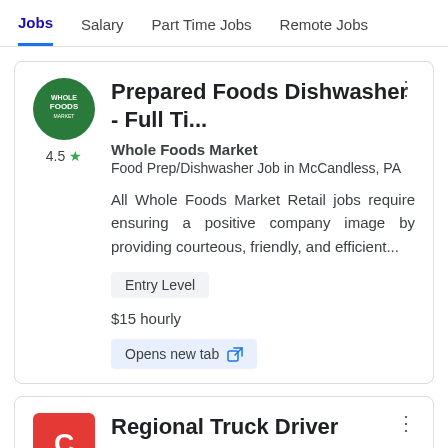Jobs  Salary  Part Time Jobs  Remote Jobs
Prepared Foods Dishwasher - Full Ti...
Whole Foods Market
Food Prep/Dishwasher Job in McCandless, PA
All Whole Foods Market Retail jobs require ensuring a positive company image by providing courteous, friendly, and efficient...
Entry Level
$15 hourly
Opens new tab
Regional Truck Driver